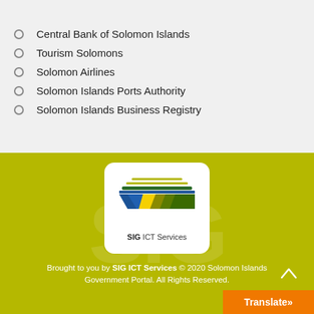Central Bank of Solomon Islands
Tourism Solomons
Solomon Airlines
Solomon Islands Ports Authority
Solomon Islands Business Registry
[Figure (logo): SIG ICT Services logo: horizontal lines above a stylized geometric diamond shape in blue, yellow, and green/olive colors, with text 'SIG ICT Services' below]
Brought to you by SIG ICT Services © 2020 Solomon Islands Government Portal. All Rights Reserved.